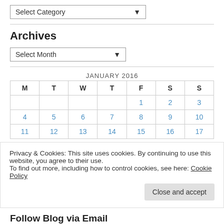Select Category
Archives
Select Month
| M | T | W | T | F | S | S |
| --- | --- | --- | --- | --- | --- | --- |
|  |  |  |  | 1 | 2 | 3 |
| 4 | 5 | 6 | 7 | 8 | 9 | 10 |
| 11 | 12 | 13 | 14 | 15 | 16 | 17 |
Privacy & Cookies: This site uses cookies. By continuing to use this website, you agree to their use.
To find out more, including how to control cookies, see here: Cookie Policy
Close and accept
Follow Blog via Email